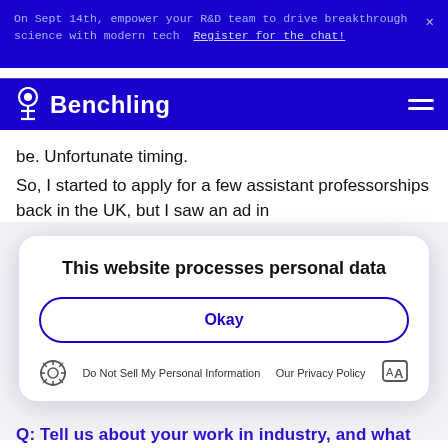On Sept 14th, empower your R&D team to drive breakthrough science with modern tech  Register for the chat!
Benchling
be. Unfortunate timing.
So, I started to apply for a few assistant professorships back in the UK, but I saw an ad in
This website processes personal data
Okay
Do Not Sell My Personal Information    Our Privacy Policy
Q: Tell us about your work in industry, and what